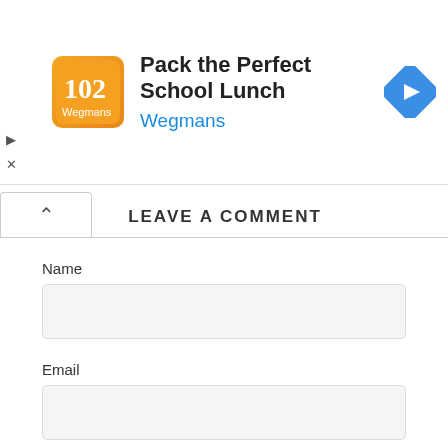[Figure (screenshot): Advertisement banner for 'Pack the Perfect School Lunch' by Wegmans, with orange logo, navigation arrow icon, play and close icons on the left.]
LEAVE A COMMENT
Name
Email
Website